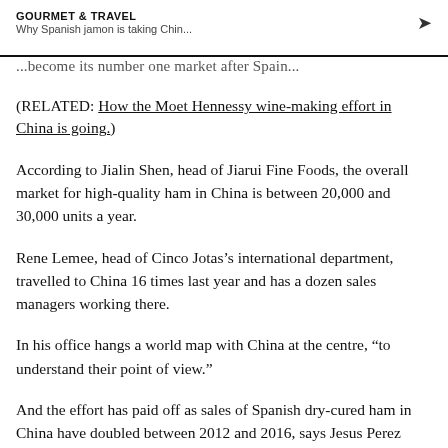GOURMET & TRAVEL
Why Spanish jamon is taking Chin...
...become its number one market after Spain...
(RELATED: How the Moet Hennessy wine-making effort in China is going.)
According to Jialin Shen, head of Jiarui Fine Foods, the overall market for high-quality ham in China is between 20,000 and 30,000 units a year.
Rene Lemee, head of Cinco Jotas’s international department, travelled to China 16 times last year and has a dozen sales managers working there.
In his office hangs a world map with China at the centre, “to understand their point of view.”
And the effort has paid off as sales of Spanish dry-cured ham in China have doubled between 2012 and 2016, says Jesus Perez Aguilar, spokesman for the Inter-